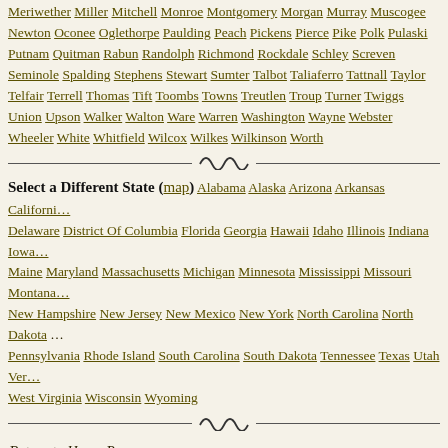Meriwether Miller Mitchell Monroe Montgomery Morgan Murray Muscogee Newton Oconee Oglethorpe Paulding Peach Pickens Pierce Pike Polk Pulaski Putnam Quitman Rabun Randolph Richmond Rockdale Schley Screven Seminole Spalding Stephens Stewart Sumter Talbot Taliaferro Tattnall Taylor Telfair Terrell Thomas Tift Toombs Towns Treutlen Troup Turner Twiggs Union Upson Walker Walton Ware Warren Washington Wayne Webster Wheeler White Whitfield Wilcox Wilkes Wilkinson Worth
Select a Different State (map) Alabama Alaska Arizona Arkansas California Delaware District Of Columbia Florida Georgia Hawaii Idaho Illinois Indiana Iowa Maine Maryland Massachusetts Michigan Minnesota Mississippi Missouri Montana New Hampshire New Jersey New Mexico New York North Carolina North Dakota Pennsylvania Rhode Island South Carolina South Dakota Tennessee Texas Utah Vermont West Virginia Wisconsin Wyoming
Return to Home Page
Frequently Asked Questions | Register Forms | Property Index | www.nationalregisterofhistoricalplaces.com